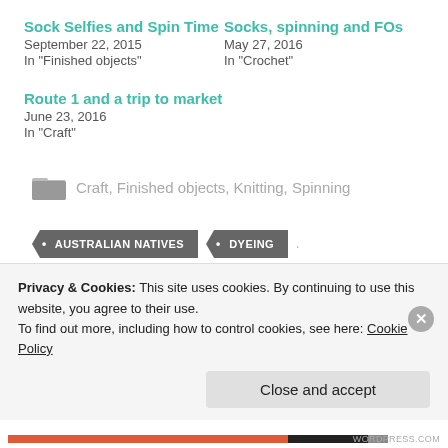Sock Selfies and Spin Time
September 22, 2015
In "Finished objects"
Socks, spinning and FOs
May 27, 2016
In "Crochet"
Route 1 and a trip to market
June 23, 2016
In "Craft"
Craft, Finished objects, Knitting, Spinning
• AUSTRALIAN NATIVES  • DYEING
• HANDSPUN  • NATURAL  • PLANT
Privacy & Cookies: This site uses cookies. By continuing to use this website, you agree to their use.
To find out more, including how to control cookies, see here: Cookie Policy
Close and accept